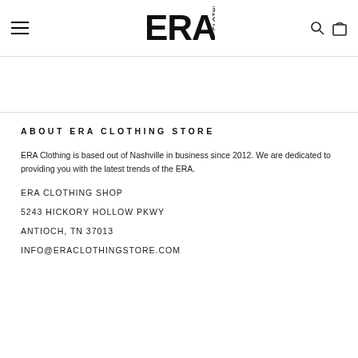[Figure (logo): ERA Clothing store logo – bold stylized text 'ERA' with 'CLOTHING' vertically on the right side]
ABOUT ERA CLOTHING STORE
ERA Clothing is based out of Nashville in business since 2012. We are dedicated to providing you with the latest trends of the ERA.
ERA CLOTHING SHOP
5243 HICKORY HOLLOW PKWY
ANTIOCH, TN 37013
INFO@ERACLOTHINGSTORE.COM